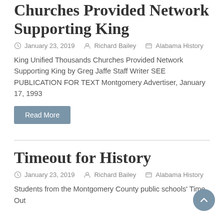King Unified Thousands Churches Provided Network Supporting King
January 23, 2019   Richard Bailey   Alabama History
King Unified Thousands Churches Provided Network Supporting King by Greg Jaffe Staff Writer SEE PUBLICATION FOR TEXT Montgomery Advertiser, January 17, 1993
Read More
Timeout for History
January 23, 2019   Richard Bailey   Alabama History
Students from the Montgomery County public schools' Time Out